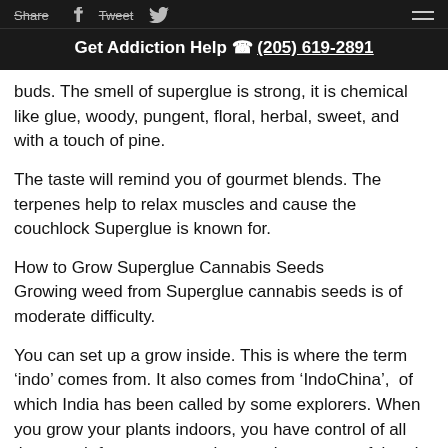Share  Tweet   Get Addiction Help (205) 619-2891
buds. The smell of superglue is strong, it is chemical like glue, woody, pungent, floral, herbal, sweet, and with a touch of pine.
The taste will remind you of gourmet blends. The terpenes help to relax muscles and cause the couchlock Superglue is known for.
How to Grow Superglue Cannabis Seeds
Growing weed from Superglue cannabis seeds is of moderate difficulty.
You can set up a grow inside. This is where the term ‘indo’ comes from. It also comes from ‘IndoChina’,  of which India has been called by some explorers. When you grow your plants indoors, you have control of all the growth factors, so you have to be very careful and detailed in how you handle your plants.
Any growers will want to control the air that the plants will be